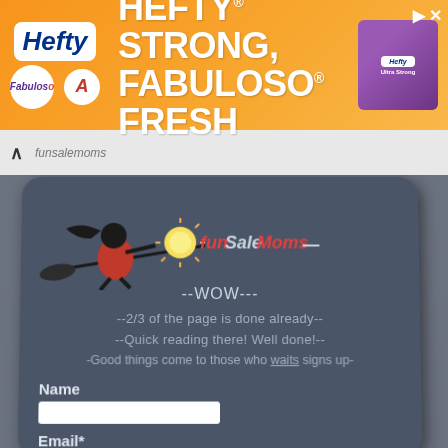[Figure (infographic): Hefty + Fabuloso advertisement banner: orange background with 'HEFTY STRONG, FABULOSO FRESH' text, Hefty logo, Fabuloso logo, Arm & Hammer logo, and product image]
[Figure (screenshot): Website screenshot showing a dark slate-colored card panel with a witch logo (black silhouette girl in red dress riding broom with sun/plate graphic), overlay text messages, and a name/email signup form]
--WOW---
--2/3 of the page is done already--
--Quick reading there! Well done!--
-Good things come to those who waits signs up-
Name
Email*